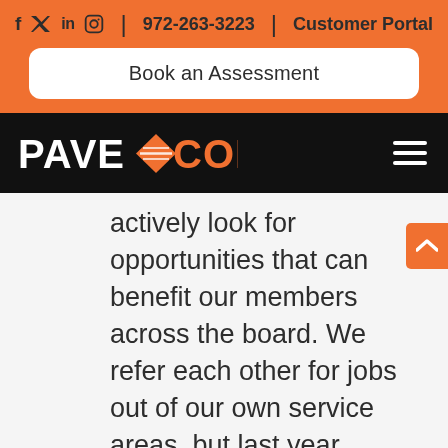f | twitter | in | instagram  |  972-263-3223  |  Customer Portal
Book an Assessment
[Figure (logo): Pavecon logo on black navigation bar with hamburger menu icon]
actively look for opportunities that can benefit our members across the board. We refer each other for jobs out of our own service areas, but last year, member Pavecon had the unique opportunity to take things a step further and negotiate a discount model with national company Realty Income in an effort we hope will pay off for our